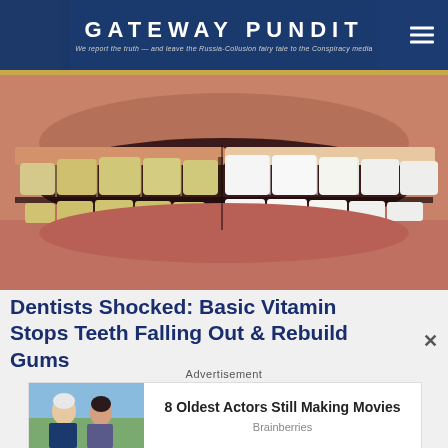GATEWAY PUNDIT — We report the truth — and leave the Russia-Collusion fairy tale to the Conspiracy media
[Figure (photo): Close-up photo of a mouth/smile showing a split before-and-after comparison of teeth whitening — left side shows yellowed teeth, right side shows bright white teeth]
Dentists Shocked: Basic Vitamin Stops Teeth Falling Out & Rebuild Gums
Advertisement
[Figure (photo): Advertisement image showing two elderly actors with text '8 Oldest Actors Still Making Movies' and source 'Brainberries']